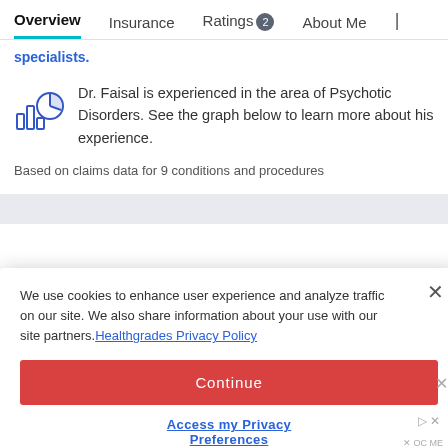Overview | Insurance | Ratings 2 | About Me | ...
specialists.
Dr. Faisal is experienced in the area of Psychotic Disorders. See the graph below to learn more about his experience.
Based on claims data for 9 conditions and procedures
Treatments
We use cookies to enhance user experience and analyze traffic on our site. We also share information about your use with our site partners. Healthgrades Privacy Policy
Continue
Access my Privacy Preferences